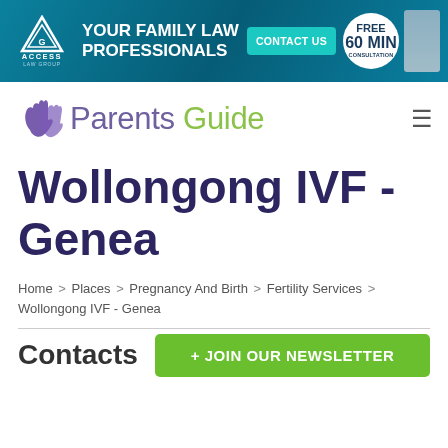[Figure (screenshot): Banner advertisement for Access Law Group: 'Your Family Law Professionals', with Contact Us button and Free 60 Min Consultation badge]
[Figure (logo): Parents Guide website logo with purple and green hand icon]
Wollongong IVF - Genea
Home > Places > Pregnancy And Birth > Fertility Services > Wollongong IVF - Genea
Contacts
+ JOIN OUR NEWSLETTER